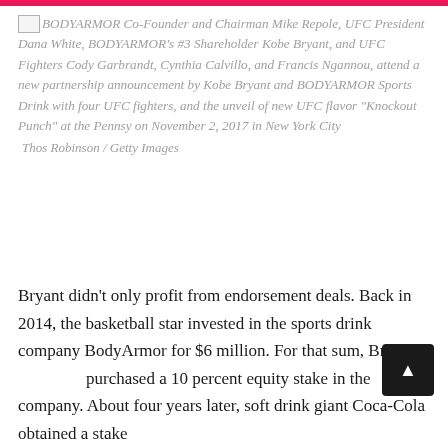BODYARMOR Co-Founder and Chairman Mike Repole, UFC President Dana White, BODYARMOR's #3 Shareholder Kobe Bryant, and UFC Fighters Cody Garbrandt, Cynthia Calvillo, and Francis Ngannou, attend a new partnership announcement by Kobe Bryant and BODYARMOR Sports Drink with four UFC fighters, and the unveil of new UFC flavor "Knockout Punch" at the Pennsy on November 2, 2017 in New York City
Thos Robinson / Getty Images
Bryant didn't only profit from endorsement deals. Back in 2014, the basketball star invested in the sports drink company BodyArmor for $6 million. For that sum, Bryant purchased a 10 percent equity stake in the company. About four years later, soft drink giant Coca-Cola obtained a stake